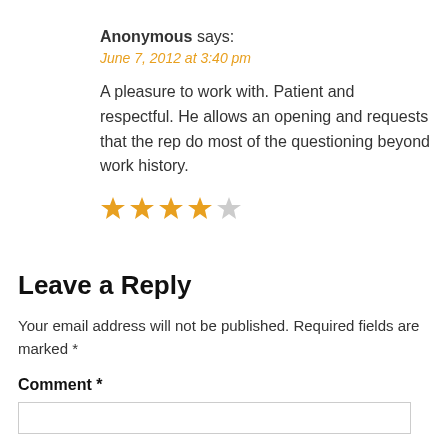Anonymous says:
June 7, 2012 at 3:40 pm
A pleasure to work with. Patient and respectful. He allows an opening and requests that the rep do most of the questioning beyond work history.
[Figure (infographic): 4 out of 5 stars rating: 4 filled orange stars and 1 empty/grey star]
Leave a Reply
Your email address will not be published. Required fields are marked *
Comment *